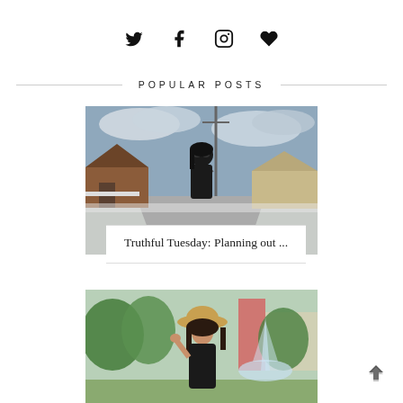[Figure (other): Social media icons: Twitter, Facebook, Instagram, Heart/Bloglovin]
POPULAR POSTS
[Figure (photo): Woman in black leather jacket and sunglasses standing on a suburban street in winter with snow on the ground]
Truthful Tuesday: Planning out ...
[Figure (photo): Woman wearing a tan hat and black dress standing in a park near a fountain with green trees in summer]